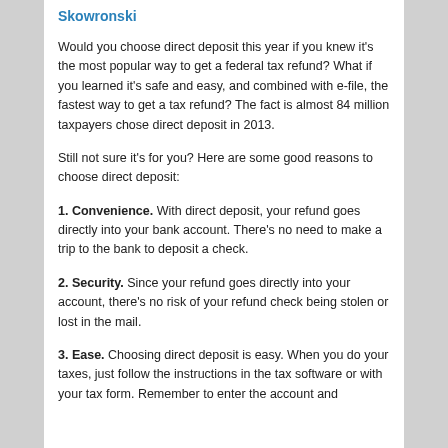Skowronski
Would you choose direct deposit this year if you knew it's the most popular way to get a federal tax refund? What if you learned it's safe and easy, and combined with e-file, the fastest way to get a tax refund? The fact is almost 84 million taxpayers chose direct deposit in 2013.
Still not sure it's for you? Here are some good reasons to choose direct deposit:
1. Convenience. With direct deposit, your refund goes directly into your bank account. There's no need to make a trip to the bank to deposit a check.
2. Security. Since your refund goes directly into your account, there's no risk of your refund check being stolen or lost in the mail.
3. Ease. Choosing direct deposit is easy. When you do your taxes, just follow the instructions in the tax software or with your tax form. Remember to enter the account and